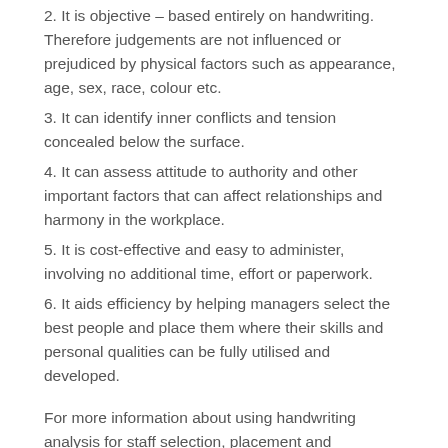2. It is objective – based entirely on handwriting. Therefore judgements are not influenced or prejudiced by physical factors such as appearance, age, sex, race, colour etc.
3. It can identify inner conflicts and tension concealed below the surface.
4. It can assess attitude to authority and other important factors that can affect relationships and harmony in the workplace.
5. It is cost-effective and easy to administer, involving no additional time, effort or paperwork.
6. It aids efficiency by helping managers select the best people and place them where their skills and personal qualities can be fully utilised and developed.
For more information about using handwriting analysis for staff selection, placement and